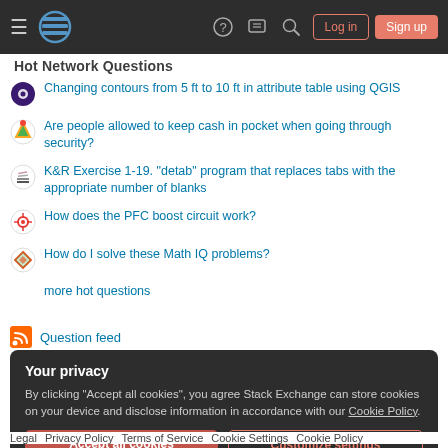Stack Exchange navigation bar with hamburger menu, logo, help, chat, search icons, Log in and Sign up buttons
Hot Network Questions
Changing contours from 5 ft to 10 ft in attribute table using QGIS
Are people allowed to keep cash in pocket when going through security?
K&R Exercise 1-19. "detab" program that replaces tabs with the appropriate number of blanks
How does the PFC boost circuit work?
How do I solve these Math IQ problems?
more hot questions
Question feed
Your privacy
By clicking "Accept all cookies", you agree Stack Exchange can store cookies on your device and disclose information in accordance with our Cookie Policy.
Accept all cookies  Customize settings
Legal  Privacy Policy  Terms of Service  Cookie Settings  Cookie Policy